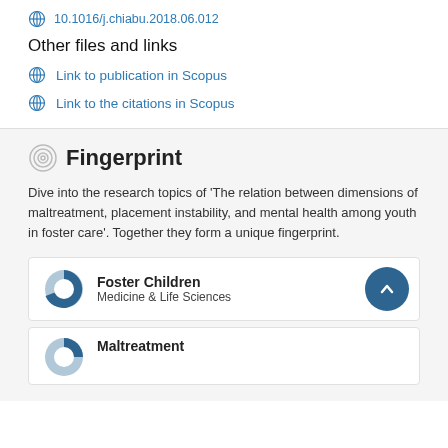10.1016/j.chiabu.2018.06.012
Other files and links
Link to publication in Scopus
Link to the citations in Scopus
Fingerprint
Dive into the research topics of 'The relation between dimensions of maltreatment, placement instability, and mental health among youth in foster care'. Together they form a unique fingerprint.
Foster Children
Medicine & Life Sciences
Maltreatment